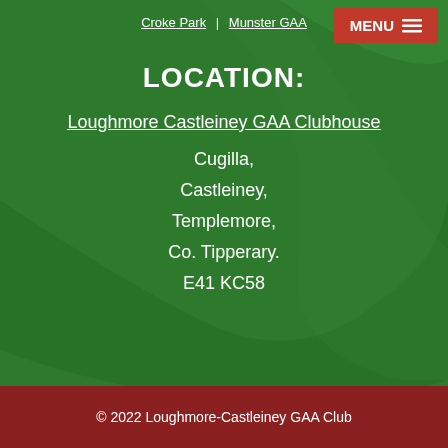Croke Park | Munster GAA
LOCATION:
Loughmore Castleiney GAA Clubhouse
Cugilla,
Castleiney,
Templemore,
Co. Tipperary.
E41 KC58
© 2022 Loughmore-Castleiney GAA Club